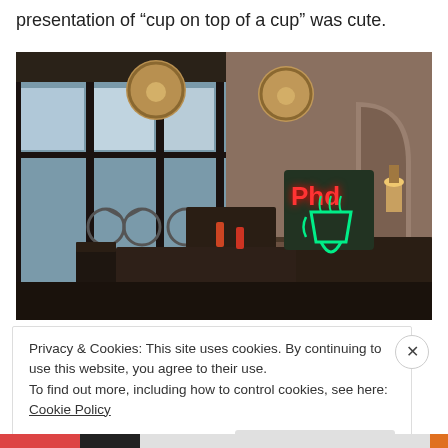presentation of “cup on top of a cup” was cute.
[Figure (photo): Interior of a cafe/restaurant with dark wood tables and chairs, large windows, globe pendant lights, and a neon sign reading 'Phd' with a coffee cup graphic on the wall. Street view visible through windows with bicycles parked outside.]
Privacy & Cookies: This site uses cookies. By continuing to use this website, you agree to their use.
To find out more, including how to control cookies, see here: Cookie Policy
Close and accept